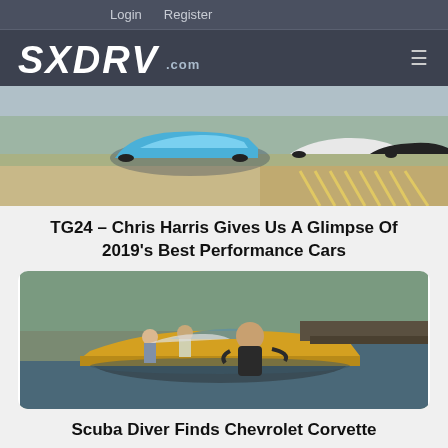Login   Register
[Figure (logo): SXDRV.com logo on dark navigation bar with hamburger menu icon]
[Figure (photo): Blue electric concept cars on a race track, Top Gear 24 episode featuring 2019 best performance cars]
TG24 – Chris Harris Gives Us A Glimpse Of 2019's Best Performance Cars
[Figure (photo): Scuba diver emerging from water beside a yellow Chevrolet Corvette that was found submerged, people standing in background]
Scuba Diver Finds Chevrolet Corvette